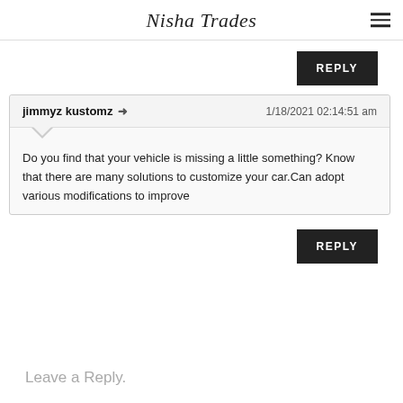Nisha Trades
REPLY
jimmyz kustomz ➜   1/18/2021 02:14:51 am
Do you find that your vehicle is missing a little something? Know that there are many solutions to customize your car.Can adopt various modifications to improve
REPLY
Leave a Reply.